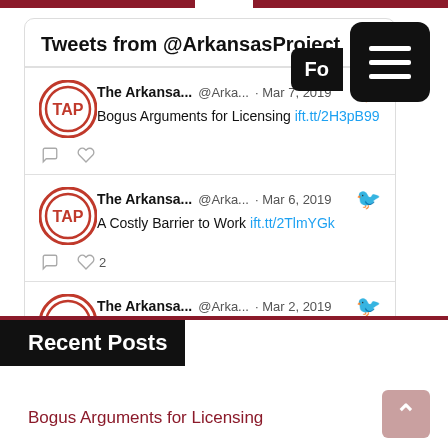Tweets from @ArkansasProject
The Arkansa... @Arka... · Mar 7, 2019 Bogus Arguments for Licensing ift.tt/2H3pB99
The Arkansa... @Arka... · Mar 6, 2019 A Costly Barrier to Work ift.tt/2TlmYGk
The Arkansa... @Arka... · Mar 2, 2019 The Farce of Constructive Higher Educatio...
Recent Posts
Bogus Arguments for Licensing